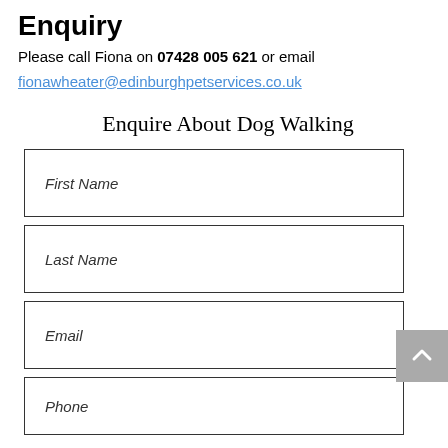Enquiry
Please call Fiona on 07428 005 621 or email fionawheater@edinburghpetservices.co.uk
Enquire About Dog Walking
First Name
Last Name
Email
Phone